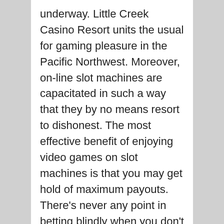underway. Little Creek Casino Resort units the usual for gaming pleasure in the Pacific Northwest. Moreover, on-line slot machines are capacitated in such a way that they by no means resort to dishonest. The most effective benefit of enjoying video games on slot machines is that you may get hold of maximum payouts. There's never any point in betting blindly when you don't totally perceive a game, you must all the time study the rules and basic game play outlines of a seminole hard rock hotel & casino game first, then observe it if you can on-line or with buddies for faux money, then when you're feeling you know the game properly enough begin betting in earnest. Please read this